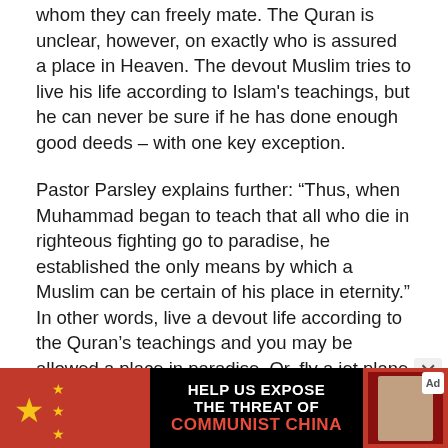whom they can freely mate. The Quran is unclear, however, on exactly who is assured a place in Heaven. The devout Muslim tries to live his life according to Islam's teachings, but he can never be sure if he has done enough good deeds – with one key exception.
Pastor Parsley explains further: “Thus, when Muhammad began to teach that all who die in righteous fighting go to paradise, he established the only means by which a Muslim can be certain of his place in eternity.” In other words, live a devout life according to the Quran’s teachings and you may be allowed a place in paradise. Or, fly a jet plane into the World Trade Center, killing yourself, your
[Figure (infographic): Advertisement banner: 'HELP US EXPOSE THE THREAT OF COMMUNIST CHINA' with Chinese flag imagery and a person's photo on the right side.]